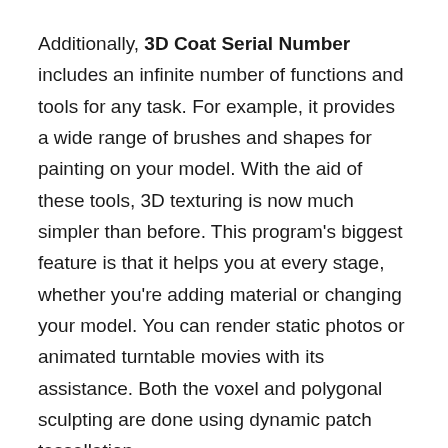Additionally, 3D Coat Serial Number includes an infinite number of functions and tools for any task. For example, it provides a wide range of brushes and shapes for painting on your model. With the aid of these tools, 3D texturing is now much simpler than before. This program's biggest feature is that it helps you at every stage, whether you're adding material or changing your model. You can render static photos or animated turntable movies with its assistance. Both the voxel and polygonal sculpting are done using dynamic patch tessellation.
Using the torrent link at the conclusion of the programme description, download 3D Coat Crack Key in English for 64-bit platforms. Key characteristics of 3D